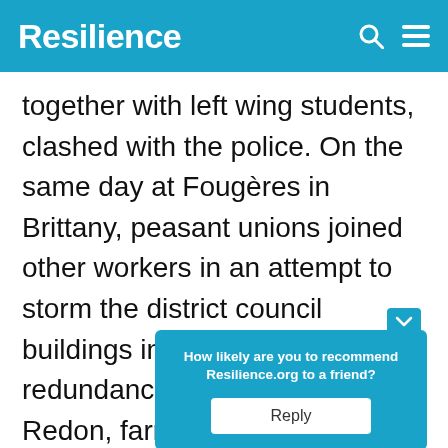Resilience
together with left wing students, clashed with the police. On the same day at Fougères in Brittany, peasant unions joined other workers in an attempt to storm the district council buildings in a protest against redundancies. In March at Redon, farmers, workers and students joined forces in another violent protest. In Nantes, students … factions … ssive uni…
How likely are you to recommend Resilience.org to a friend? Reply